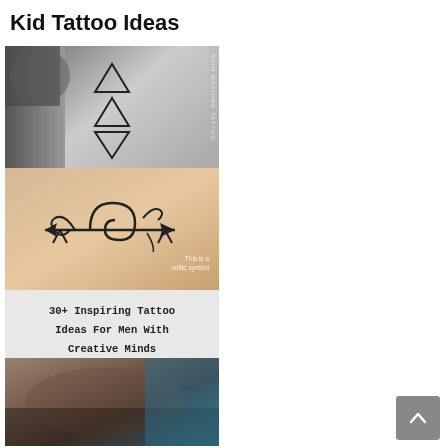Kid Tattoo Ideas
[Figure (photo): Black and white photo of arm tattoo with three triangles (two pointing up, one pointing down) stacked vertically, with SKIN MACHINE TATTOO watermark]
[Figure (photo): Photo of wrist/forearm tattoo showing celtic symbol design resembling an unalome or arrow with swirls, with text 'This is a celtic symbol' in corner]
30+ Inspiring Tattoo Ideas For Men With Creative Minds
[Figure (photo): Photo of ankle/foot tattoo in dark tones]